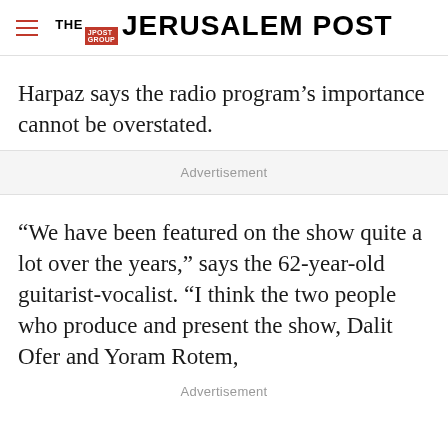THE JERUSALEM POST
Harpaz says the radio program’s importance cannot be overstated.
Advertisement
“We have been featured on the show quite a lot over the years,” says the 62-year-old guitarist-vocalist. “I think the two people who produce and present the show, Dalit Ofer and Yoram Rotem,
Advertisement